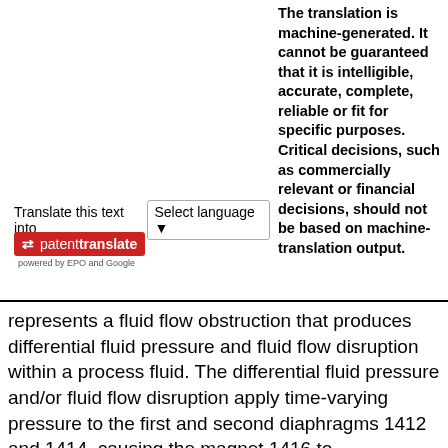Translate this text into  Select language ▾
[Figure (logo): Patent Translate logo — red badge with arrows icon and 'patenttranslate' text, powered by EPO and Google]
The translation is machine-generated. It cannot be guaranteed that it is intelligible, accurate, complete, reliable or fit for specific purposes. Critical decisions, such as commercially relevant or financial decisions, should not be based on machine-translation output.
represents a fluid flow obstruction that produces differential fluid pressure and fluid flow disruption within a process fluid. The differential fluid pressure and/or fluid flow disruption apply time-varying pressure to the first and second diaphragms 1412 and 1414, causing the magnet 1416 to